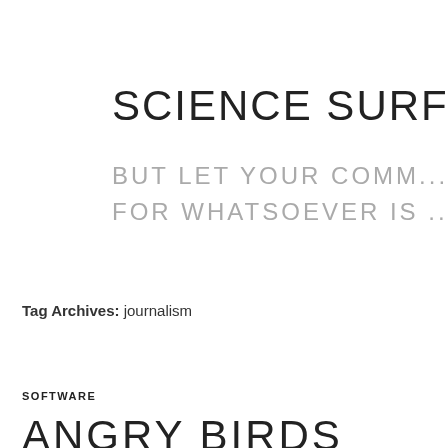SCIENCE SURF
BUT LET YOUR COMM...
FOR WHATSOEVER IS ...
Tag Archives: journalism
SOFTWARE
ANGRY BIRDS